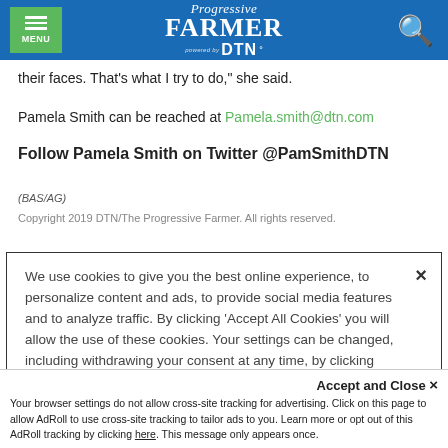Progressive Farmer powered by DTN
their faces. That's what I try to do," she said.
Pamela Smith can be reached at Pamela.smith@dtn.com
Follow Pamela Smith on Twitter @PamSmithDTN
(BAS/AG)
Copyright 2019 DTN/The Progressive Farmer. All rights reserved.
We use cookies to give you the best online experience, to personalize content and ads, to provide social media features and to analyze traffic. By clicking 'Accept All Cookies' you will allow the use of these cookies. Your settings can be changed, including withdrawing your consent at any time, by clicking 'Cookie Settings'. Find out more on how we and third parties use cookies in our Cookie Policy
Accept and Close
Your browser settings do not allow cross-site tracking for advertising. Click on this page to allow AdRoll to use cross-site tracking to tailor ads to you. Learn more or opt out of this AdRoll tracking by clicking here. This message only appears once.